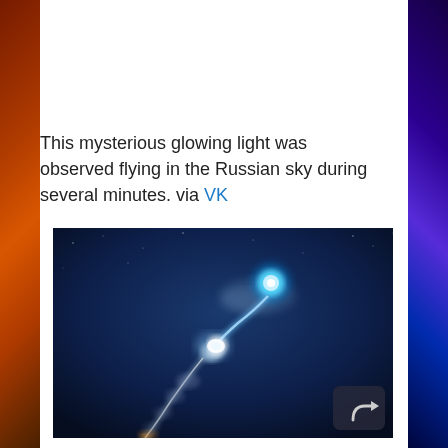This mysterious glowing light was observed flying in the Russian sky during several minutes. via VK
[Figure (photo): Night sky photograph showing a glowing blue orb with a swirling white and blue smoke/light trail beneath it, resembling a rocket or UFO sighting over Russia. A dark blue button with a curved arrow (share icon) is in the bottom-right corner of the image.]